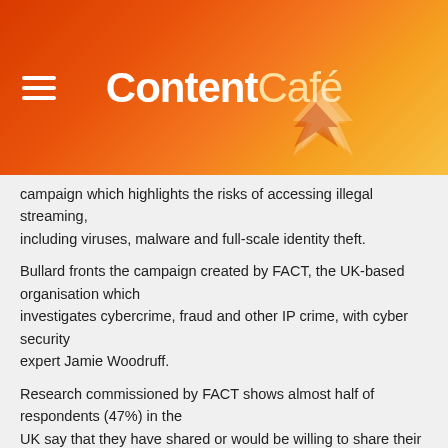ContentCafé
campaign which highlights the risks of accessing illegal streaming, including viruses, malware and full-scale identity theft.

Bullard fronts the campaign created by FACT, the UK-based organisation which investigates cybercrime, fraud and other IP crime, with cyber security expert Jamie Woodruff.

Research commissioned by FACT shows almost half of respondents (47%) in the UK say that they have shared or would be willing to share their personal email address to gain access to illicit streams. One in three admit they have experienced fraud, been hacked or have been exposed to online scams as